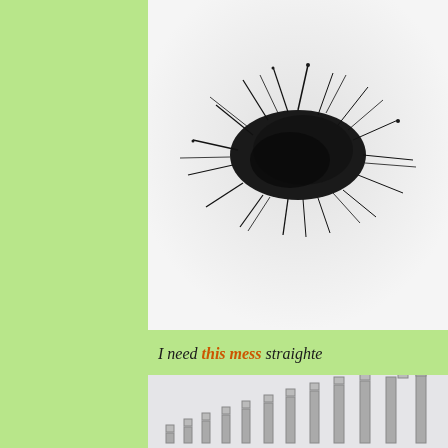[Figure (photo): Black and white photograph of a tangled, spiky, dark mass of thin fibers or wires arranged in a nest-like heap against a white background.]
I need this mess straighte
[Figure (photo): Partial view of a photo showing small ladder-like or grid structures arranged in a row against a light gray background, increasing in height from left to right.]